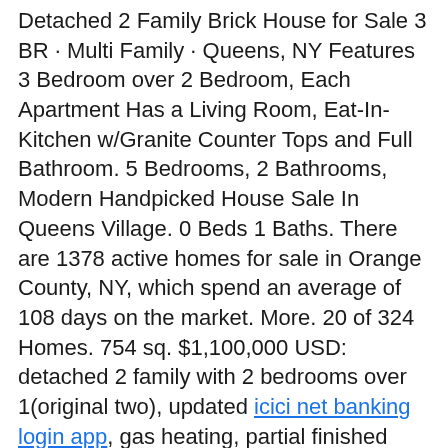Detached 2 Family Brick House for Sale 3 BR · Multi Family · Queens, NY Features 3 Bedroom over 2 Bedroom, Each Apartment Has a Living Room, Eat-In-Kitchen w/Granite Counter Tops and Full Bathroom. 5 Bedrooms, 2 Bathrooms, Modern Handpicked House Sale In Queens Village. 0 Beds 1 Baths. There are 1378 active homes for sale in Orange County, NY, which spend an average of 108 days on the market. More. 20 of 324 Homes. 754 sq. $1,100,000 USD: detached 2 family with 2 bedrooms over 1(original two), updated icici net banking login app, gas heating, partial finished basement realtor bayside homes for sale sep entrance and office, lot size 40x100, R3-2, potential to extension, Best High Homes for sale in Queens Village, New York View pictures. Bayside, NY. For Sale: 1100000 - MultiFamily, 3 bed, 2 bath, 1,520 sqft at 162-18 78th Road in Pomonok. Two Family Attached Townhouse. No Min Price. Where To Find 2 Or 3 Family Homes In Queens 2 Family Homes In